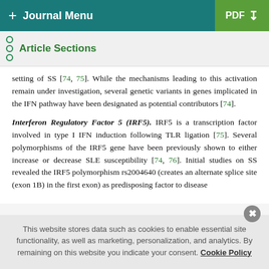+ Journal Menu   PDF ↓
Article Sections
setting of SS [74, 75]. While the mechanisms leading to this activation remain under investigation, several genetic variants in genes implicated in the IFN pathway have been designated as potential contributors [74].
Interferon Regulatory Factor 5 (IRF5). IRF5 is a transcription factor involved in type I IFN induction following TLR ligation [75]. Several polymorphisms of the IRF5 gene have been previously shown to either increase or decrease SLE susceptibility [74, 76]. Initial studies on SS revealed the IRF5 polymorphism rs2004640 (creates an alternate splice site (exon 1B) in the first exon) as predisposing factor to disease
This website stores data such as cookies to enable essential site functionality, as well as marketing, personalization, and analytics. By remaining on this website you indicate your consent. Cookie Policy